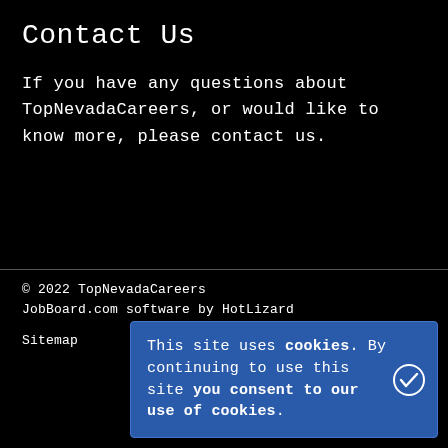Contact Us
If you have any questions about TopNevadaCareers, or would like to know more, please contact us.
© 2022 TopNevadaCareers
JobBoard.com software by HotLizard

Sitemap
This site uses cookies. By continuing to use this site you consent to our use of cookies.